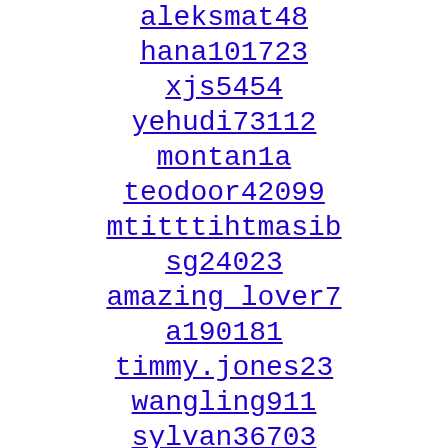aleksmat48
hana101723
xjs5454
yehudi73112
montan1a
teodoor42099
mtitttihtmasib
sg24023
amazing_lover7
a190181
timmy.jones23
wangling911
sylvan36703
yevalenciano367
taddeus30651
purple57_2001
lawerence92442
youngtemika
lothar-57
zakkaanxmo
zen.equilibrium
changa106
yahoo.frkgrd
conrad51999
gjkjcfns
xoraken
giovykitti-92
lulu.1624
www.rihanna182
tre52650